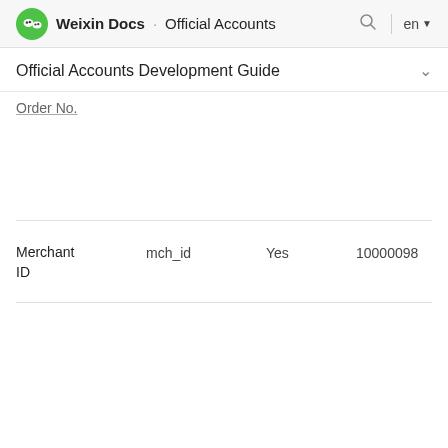Weixin Docs · Official Accounts
Official Accounts Development Guide
Order No.
| Field | Variable | Required | Example |
| --- | --- | --- | --- |
| Merchant ID | mch_id | Yes | 10000098 |